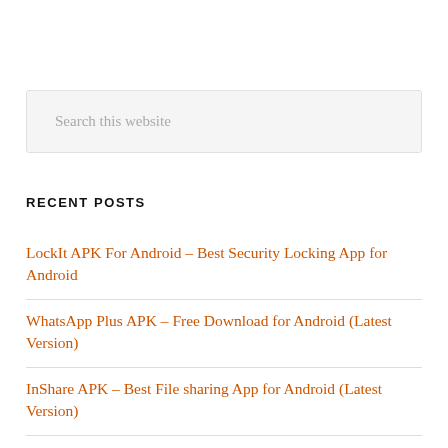Search this website
RECENT POSTS
LockIt APK For Android – Best Security Locking App for Android
WhatsApp Plus APK – Free Download for Android (Latest Version)
InShare APK – Best File sharing App for Android (Latest Version)
FileSynced APK – Free Download Android File Hsot